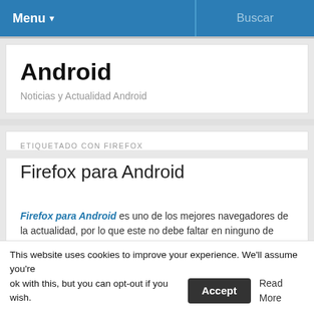Menu ▾   Buscar
Android
Noticias y Actualidad Android
ETIQUETADO CON FIREFOX
Firefox para Android
Firefox para Android es uno de los mejores navegadores de la actualidad, por lo que este no debe faltar en ninguno de nuestros dispositivos que trabajen con este multifuncional sistema operativo de Google.
Esta aplicación cuenta con una interfaz sumamente amigable para el
This website uses cookies to improve your experience. We'll assume you're ok with this, but you can opt-out if you wish. Accept  Read More